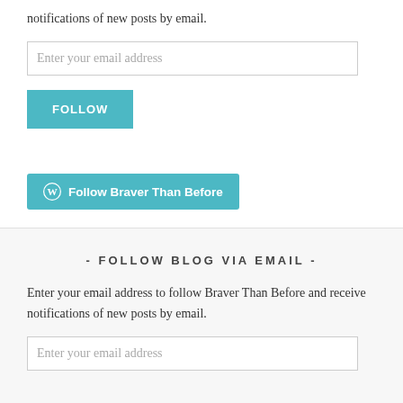notifications of new posts by email.
[Figure (other): Email input field with placeholder 'Enter your email address']
[Figure (other): FOLLOW button in teal/cyan color]
[Figure (other): WordPress Follow button: Follow Braver Than Before]
- FOLLOW BLOG VIA EMAIL -
Enter your email address to follow Braver Than Before and receive notifications of new posts by email.
[Figure (other): Email input field with placeholder 'Enter your email address']